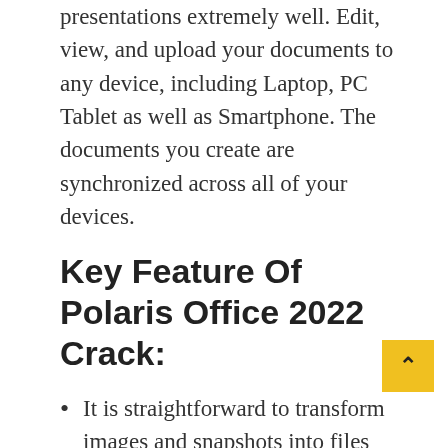presentations extremely well. Edit, view, and upload your documents to any device, including Laptop, PC Tablet as well as Smartphone. The documents you create are synchronized across all of your devices.
Key Feature Of Polaris Office 2022 Crack:
It is straightforward to transform images and snapshots into files that are readable. In addition, voice can be converted quickly into written form, thereby easing the process and decreasing the need for writing.
It places a great value on the client's records, but it does so by preventing privacy